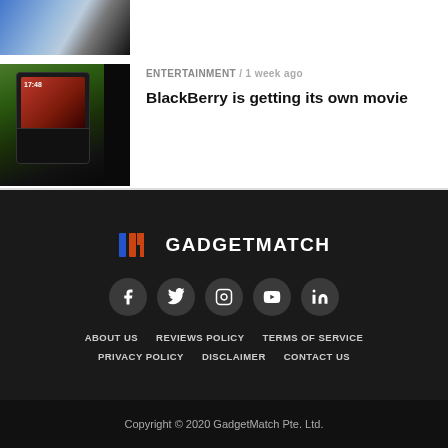[Figure (photo): Partial image of first article, cropped at top]
[Figure (photo): Hand holding a BlackBerry phone with red screen and physical keyboard]
ENTERTAINMENT / 1 week ago
BlackBerry is getting its own movie
[Figure (logo): GadgetMatch logo with stylized M icon in orange/blue and white text GADGETMATCH]
[Figure (infographic): Row of 5 social media icons: Facebook, Twitter, Instagram, YouTube, LinkedIn]
ABOUT US
REVIEWS POLICY
TERMS OF SERVICE
PRIVACY POLICY
DISCLAIMER
CONTACT US
Copyright © 2020 GadgetMatch Pte. Ltd.